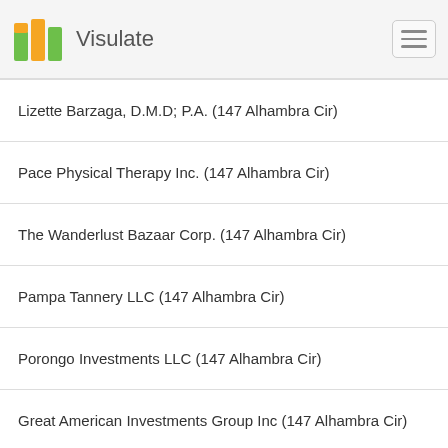Visulate
Lizette Barzaga, D.M.D; P.A. (147 Alhambra Cir)
Pace Physical Therapy Inc. (147 Alhambra Cir)
The Wanderlust Bazaar Corp. (147 Alhambra Cir)
Pampa Tannery LLC (147 Alhambra Cir)
Porongo Investments LLC (147 Alhambra Cir)
Great American Investments Group Inc (147 Alhambra Cir)
Belino Group, LLC (165 Aragon Ave)
Ivanworks Waxing LLC (165 Aragon Ave)
Strong Will Foundation, Inc. (161 Aragon Ave)
Chikara, LLC (159 Aragon Ave)